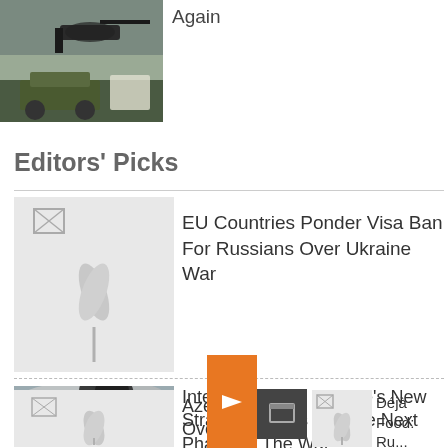[Figure (photo): Military helicopter and vehicle scene, top left]
Again
Editors' Picks
[Figure (photo): Broken/missing image placeholder, grey background]
EU Countries Ponder Visa Ban For Russians Over Ukraine War
[Figure (photo): Military artillery firing with black smoke and cloudy sky]
Interview: What Ukraine's New Strategy Means For The Next Phase Of The War
[Figure (photo): Broken/missing image placeholder, grey background, bottom left]
Azer... Over...
[Figure (other): Orange arrow button overlay with dark square icon]
[Figure (photo): Broken/missing image placeholder, grey background, bottom right]
Déjà Food: Ru... Replica Restau... Brands